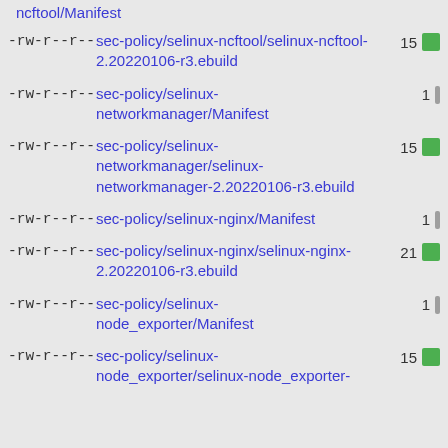-rw-r--r--  ncftool/Manifest
-rw-r--r--  sec-policy/selinux-ncftool/selinux-ncftool-2.20220106-r3.ebuild  15
-rw-r--r--  sec-policy/selinux-networkmanager/Manifest  1
-rw-r--r--  sec-policy/selinux-networkmanager/selinux-networkmanager-2.20220106-r3.ebuild  15
-rw-r--r--  sec-policy/selinux-nginx/Manifest  1
-rw-r--r--  sec-policy/selinux-nginx/selinux-nginx-2.20220106-r3.ebuild  21
-rw-r--r--  sec-policy/selinux-node_exporter/Manifest  1
-rw-r--r--  sec-policy/selinux-node_exporter/selinux-node_exporter-2.20220106-r3.ebuild  15